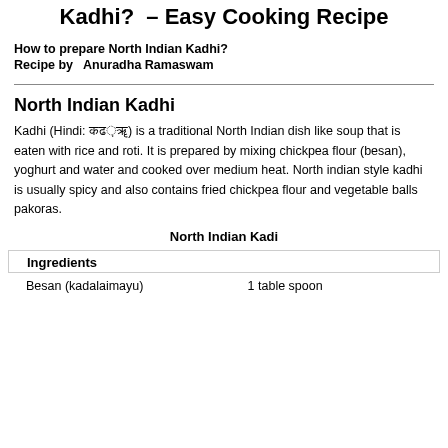Kadhi? – Easy Cooking Recipe
How to prepare North Indian Kadhi?
Recipe by   Anuradha Ramaswam
North Indian Kadhi
Kadhi (Hindi: कढ़ी) is a traditional North Indian dish like soup that is eaten with rice and roti. It is prepared by mixing chickpea flour (besan), yoghurt and water and cooked over medium heat. North indian style kadhi is usually spicy and also contains fried chickpea flour and vegetable balls pakoras.
North Indian Kadi
Ingredients
Besan (kadalaimayu)                    1 table spoon